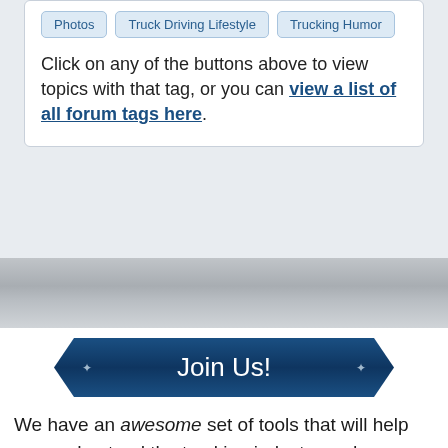Photos | Truck Driving Lifestyle | Trucking Humor
Click on any of the buttons above to view topics with that tag, or you can view a list of all forum tags here.
[Figure (other): Join Us! decorative button banner with dark navy blue arrow/chevron shape]
We have an awesome set of tools that will help you understand the trucking industry and prepare for a great start to your trucking career. Not only that, but everything we offer here at TruckingTruth is